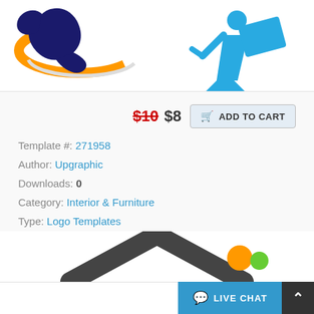[Figure (logo): Partial logo top-left: dark navy bird/fish with orange swirl arc and white arc, on white background]
[Figure (logo): Partial logo top-right: blue figure holding/reading document, on white background]
$10 $8  ADD TO CART
Template #: 271958
Author: Upgraphic
Downloads: 0
Category: Interior & Furniture
Type: Logo Templates
View: Live Demo or More Info
Alternate Live Demo: Click Here
[Figure (logo): Bottom center partial: dark charcoal rooftop/chevron shape of a house logo, orange and green circles to the right]
LIVE CHAT